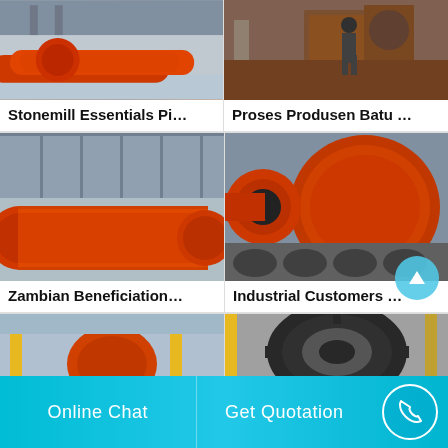[Figure (photo): Industrial stone mill machinery, orange equipment in factory setting]
Stonemill Essentials Pi…
[Figure (photo): Industrial stone processing machinery with worker in background]
Proses Produsen Batu …
[Figure (photo): Large orange cylindrical ball mill lying on ground in factory yard]
Zambian Beneficiation…
[Figure (photo): Close-up of orange industrial ball mill drum/cylinder machinery]
Industrial Customers …
[Figure (photo): Industrial mill equipment with yellow crane structures in factory]
[Figure (photo): Close-up of large gear/wheel mechanism of industrial mill]
Online Chat  Get Quotation